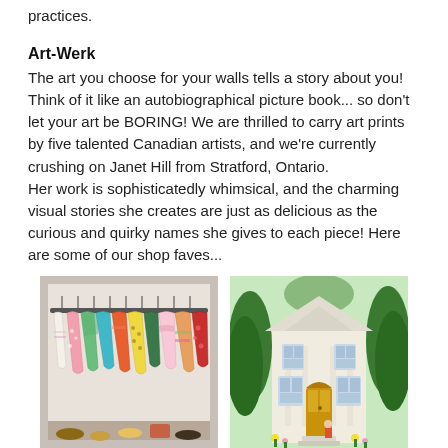practices.
Art-Werk
The art you choose for your walls tells a story about you! Think of it like an autobiographical picture book... so don't let your art be BORING! We are thrilled to carry art prints by five talented Canadian artists, and we're currently crushing on Janet Hill from Stratford, Ontario.
Her work is sophisticatedly whimsical, and the charming visual stories she creates are just as delicious as the curious and quirky names she gives to each piece! Here are some of our shop faves...
[Figure (photo): Colorful dresses and clothes hanging on a rack in a closet, with bright patterned garments in pink, green, orange, and yellow.]
[Figure (illustration): A whimsical illustrated painting of a large white colonial-style house surrounded by lush green trees, with a small figure at the door.]